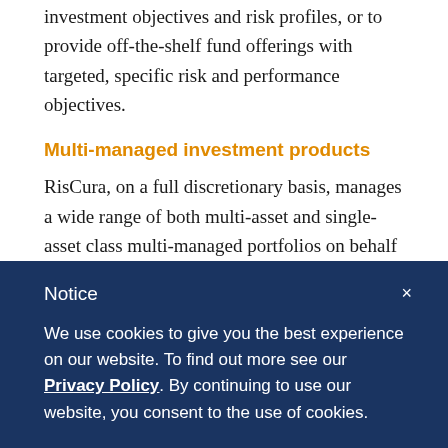investment objectives and risk profiles, or to provide off-the-shelf fund offerings with targeted, specific risk and performance objectives.
Multi-managed investment products
RisCura, on a full discretionary basis, manages a wide range of both multi-asset and single-asset class multi-managed portfolios on behalf of clients. Our extensive experience in portfolio construction allows us to see different market conditions and...
Notice
We use cookies to give you the best experience on our website. To find out more see our Privacy Policy. By continuing to use our website, you consent to the use of cookies.